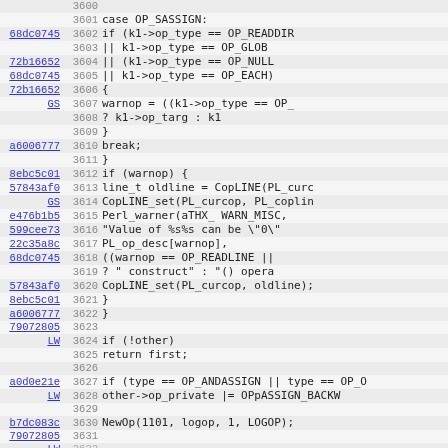[Figure (screenshot): Source code viewer showing lines 3600-3631 of a C/Perl source file with git blame annotations. Each row shows a git commit hash (hyperlinked), line number, and code content. The code shows a switch/case block for OP_SASSIGN handling warning operations.]